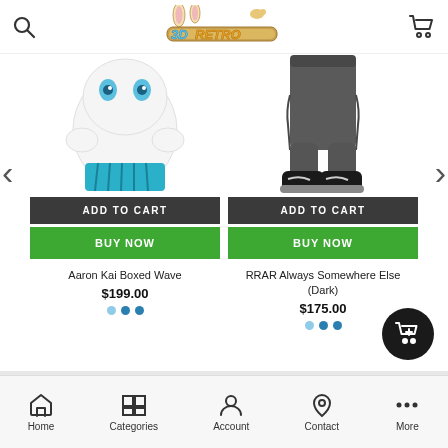3D Retro store header with search icon, logo, and cart icon
[Figure (screenshot): Product card for Aaron Kai Boxed Wave — white toy figure with teal accents, Add to Cart and Buy Now buttons]
[Figure (screenshot): Product card for RRAR Always Somewhere Else (Dark) — figure legs/feet visible, Add to Cart and Buy Now buttons]
Aaron Kai Boxed Wave
$199.00
RRAR Always Somewhere Else (Dark)
$175.00
Home  Categories  Account  Contact  More